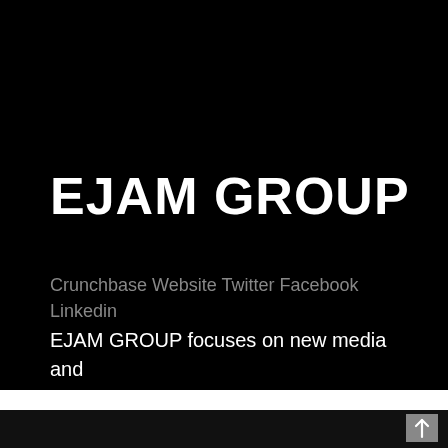EJAM GROUP
Crunchbase Website Twitter Facebook Linkedin
EJAM GROUP focuses on new media and new marketing construction.